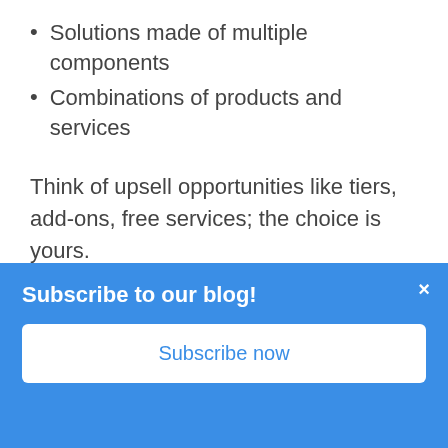Solutions made of multiple components
Combinations of products and services
Think of upsell opportunities like tiers, add-ons, free services; the choice is yours.
These types of products are worthy of high returns with account-based selling because they can maintain customer relationships through consistency of excellent service – which you can't achieve without synergy between sales, marketing, product
Subscribe to our blog!
Subscribe now